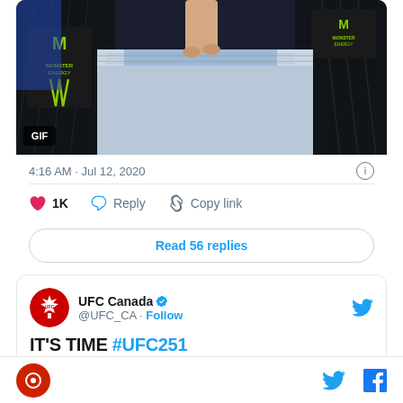[Figure (screenshot): GIF of UFC octagon/cage entrance area with Monster Energy branding on padding. Black octagon fence with chain-link, Monster Energy logos visible. A person's bare feet and legs stepping onto octagon steps. 'GIF' label overlay in bottom-left corner.]
4:16 AM · Jul 12, 2020
1K  Reply  Copy link
Read 56 replies
UFC Canada @UFC_CA · Follow
IT'S TIME #UFC251
Twitter and Facebook share icons